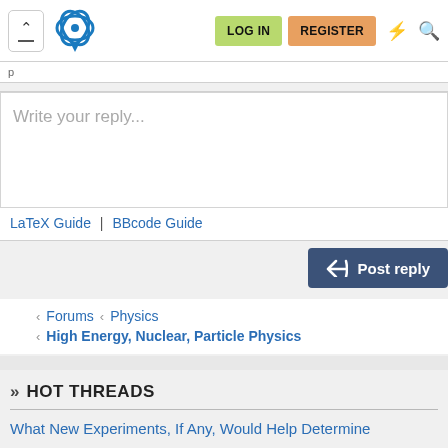Physics Forums - LOG IN | REGISTER
Write your reply...
LaTeX Guide | BBcode Guide
Post reply
Forums > Physics
High Energy, Nuclear, Particle Physics
HOT THREADS
What New Experiments, If Any, Would Help Determine